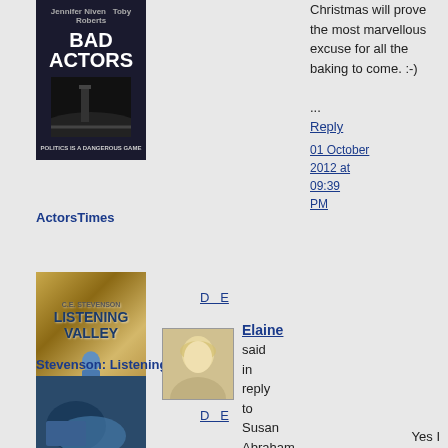[Figure (photo): Book cover: Bad Actors, dark background with Big Ben silhouette, text 'POLITICS IS A DANGEROUS GAME']
ActorsTimes
D E
[Figure (photo): Book cover: Listening Valley by C.E. Stevenson, woman in blue dress on golden background]
Stevenson: Listening Valley
Christmas will prove the most marvellous excuse for all the baking to come. :-) ...
Reply
01 October 2012 at 09:39 PM
[Figure (photo): Avatar photo of Elaine, blonde woman]
Elaine said in reply to Susan Abraham...
D E
[Figure (photo): Book cover: another Stevenson novel, blue and dark tones]
Yes I